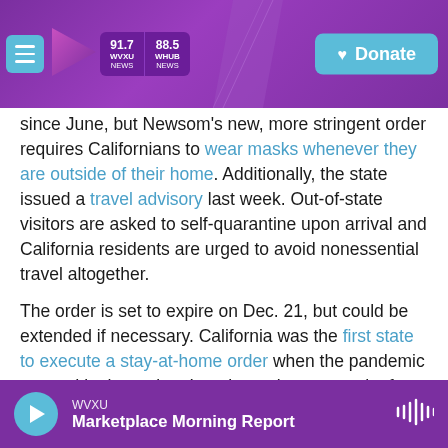91.7 WVXU NEWS | 88.5 WHUB NEWS | Donate
since June, but Newsom's new, more stringent order requires Californians to wear masks whenever they are outside of their home. Additionally, the state issued a travel advisory last week. Out-of-state visitors are asked to self-quarantine upon arrival and California residents are urged to avoid nonessential travel altogether.
The order is set to expire on Dec. 21, but could be extended if necessary. California was the first state to execute a stay-at-home order when the pandemic erupted in the spring. It took nearly two months for restrictions to ease.
WVXU Marketplace Morning Report